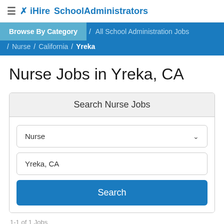iHireSchoolAdministrators
Browse By Category / All School Administration Jobs / Nurse / California / Yreka
Nurse Jobs in Yreka, CA
Search Nurse Jobs
Nurse
Yreka, CA
Search
1-1 of 1 Jobs